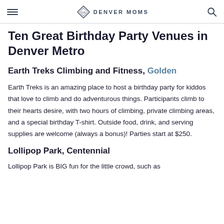Denver Moms
Ten Great Birthday Party Venues in Denver Metro
Earth Treks Climbing and Fitness, Golden
Earth Treks is an amazing place to host a birthday party for kiddos that love to climb and do adventurous things. Participants climb to their hearts desire, with two hours of climbing, private climbing areas, and a special birthday T-shirt. Outside food, drink, and serving supplies are welcome (always a bonus)! Parties start at $250.
Lollipop Park, Centennial
Lollipop Park is BIG fun for the little crowd, such as